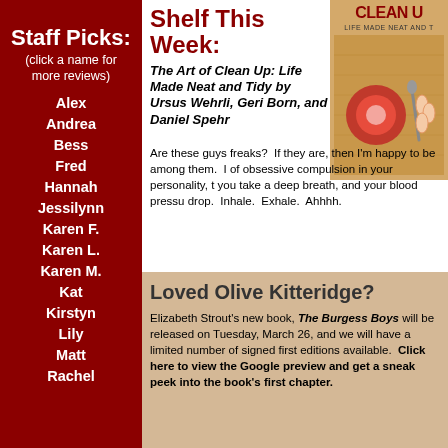Staff Picks:
(click a name for more reviews)
Alex
Andrea
Bess
Fred
Hannah
Jessilynn
Karen F.
Karen L.
Karen M.
Kat
Kirstyn
Lily
Matt
Rachel
Shelf This Week:
[Figure (photo): Book cover of The Art of Clean Up: Life Made Neat and Tidy showing organized items on a wooden surface with text CLEAN UP and LIFE MADE NEAT AND TIDY]
The Art of Clean Up: Life Made Neat and Tidy by Ursus Wehrli, Geri Born, and Daniel Spehr
Are these guys freaks?  If they are, then I'm happy to be among them.  I of obsessive compulsion in your personality, t you take a deep breath, and your blood pressu drop.  Inhale.  Exhale.  Ahhhh.
Loved Olive Kitteridge?
Elizabeth Strout's new book, The Burgess Boys will be released on Tuesday, March 26, and we will have a limited number of signed first editions available.  Click here to view the Google preview and get a sneak peek into the book's first chapter.